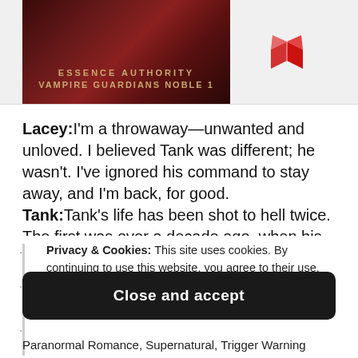[Figure (illustration): Book cover for 'Essence Authority Vampire Guardians Noble 1' with dark red/brown background and gold text, alongside a red book logo icon]
Lacey:I'm a throwaway—unwanted and unloved. I believed Tank was different; he wasn't. I've ignored his command to stay away, and I'm back, for good. Tank:Tank's life has been shot to hell twice. The first was over a decade ago, when his baby brother brought his...
Privacy & Cookies: This site uses cookies. By continuing to use this website, you agree to their use. To find out more, including how to control cookies, see here: Cookie Policy
Close and accept
Paranormal Romance, Supernatural, Trigger Warning